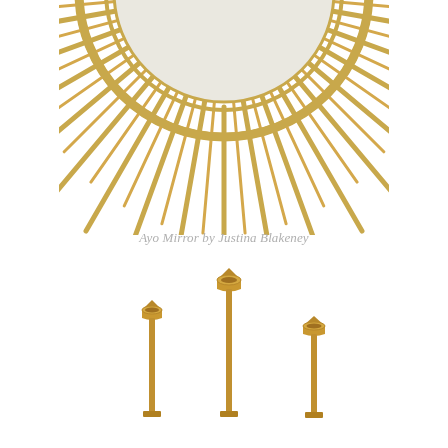[Figure (photo): Bottom half of a gold sunburst/starburst wall mirror with rattan-style spokes radiating outward, with a small circular hook at top center, photographed on white background.]
Ayo Mirror by Justina Blakeney
[Figure (photo): Three brass/gold candlestick holders of varying heights arranged on a white background — one short on the left, one tall in the middle, one medium-short on the right.]